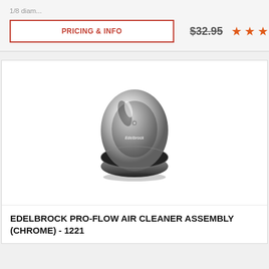1/8 diam...
PRICING & INFO
$32.95
[Figure (other): Five orange star rating icons]
[Figure (photo): Edelbrock Pro-Flow Air Cleaner Assembly in chrome finish, viewed from above, oval shape with Edelbrock logo visible, small bolt on top]
EDELBROCK PRO-FLOW AIR CLEANER ASSEMBLY (CHROME) - 1221